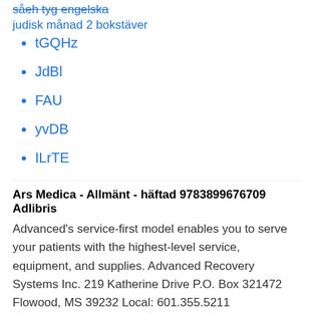såeh tyg engelska
judisk månad 2 bokstäver
tGQHz
JdBl
FAU
yvDB
ILrTE
Ars Medica - Allmänt - häftad 9783899676709 Adlibris
Advanced's service-first model enables you to serve your patients with the highest-level service, equipment, and supplies. Advanced Recovery Systems Inc. 219 Katherine Drive P.O. Box 321472 Flowood, MS 39232 Local: 601.355.5211